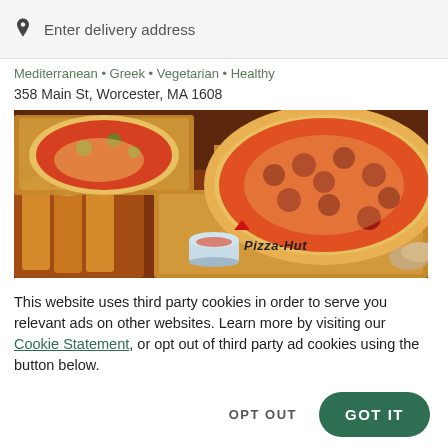Enter delivery address
Mediterranean • Greek • Vegetarian • Healthy
358 Main St, Worcester, MA 1608
[Figure (photo): Pizza Hut promotional photo showing open pizza boxes with a large pepperoni pizza and breadsticks on a dark wooden surface, with the Pizza Hut logo visible on the box]
This website uses third party cookies in order to serve you relevant ads on other websites. Learn more by visiting our Cookie Statement, or opt out of third party ad cookies using the button below.
OPT OUT
GOT IT